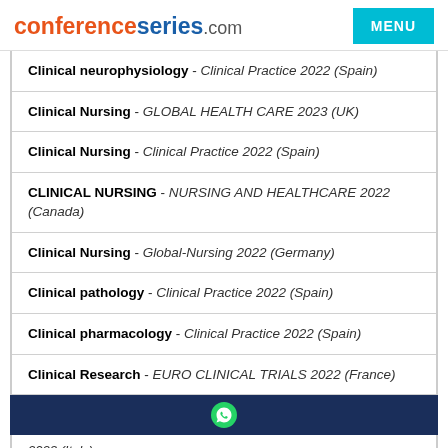conferenceseries.com | MENU
Clinical neurophysiology - Clinical Practice 2022 (Spain)
Clinical Nursing - GLOBAL HEALTH CARE 2023 (UK)
Clinical Nursing - Clinical Practice 2022 (Spain)
CLINICAL NURSING - NURSING AND HEALTHCARE 2022 (Canada)
Clinical Nursing - Global-Nursing 2022 (Germany)
Clinical pathology - Clinical Practice 2022 (Spain)
Clinical pharmacology - Clinical Practice 2022 (Spain)
Clinical Research - EURO CLINICAL TRIALS 2022 (France)
2023 (Italy)